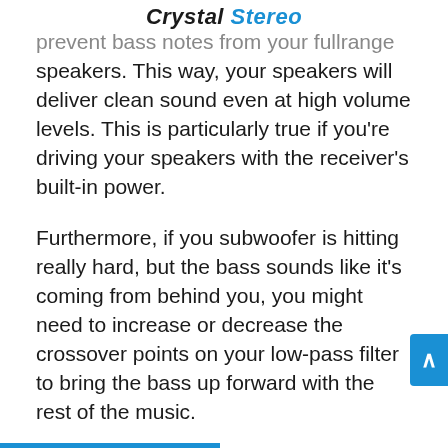Crystal Stereo
prevent bass notes from your fullrange speakers. This way, your speakers will deliver clean sound even at high volume levels. This is particularly true if you're driving your speakers with the receiver's built-in power.
Furthermore, if you subwoofer is hitting really hard, but the bass sounds like it's coming from behind you, you might need to increase or decrease the crossover points on your low-pass filter to bring the bass up forward with the rest of the music.
If the amplifier powering your subwoofer is featured with subsonic filters, turn it on. It'll cut down super low bass notes below the range of human hearing,